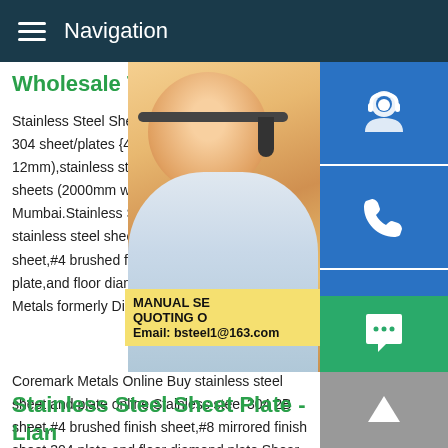Navigation
Wholesale Trader from
Stainless Steel Sheet.Leading Wholesale 304 sheet/plates {4%nickel},ss 304 cut siz 12mm),stainless steel cut sheet,stainless s sheets (2000mm width) and ss 304 matte Mumbai.Stainless Steel Sheet Plate Corer stainless steel sheet and plate online.Stai sheet,#4 brushed finish sheet,#8 mirrored plate,and floor diamond plate.Shear or las Metals formerly Discount Steel.Stainless S
[Figure (photo): Woman with headset customer service representative photo]
[Figure (infographic): Blue sidebar icons: customer service headset, phone, Skype logo]
[Figure (infographic): Yellow callout box with text: MANUAL SE... QUOTING O... Email: bsteel1@163.com]
Coremark Metals Online Buy stainless steel sheet and plate online.Stainless steel 304 2B sheet,#4 brushed finish sheet,#8 mirrored finish sheet,304 plate,and floor diamond plate.Shear or laser cut to size Coremark Metals formerly Discount Steel.
Stainless Steel Sheet Plate - Lian